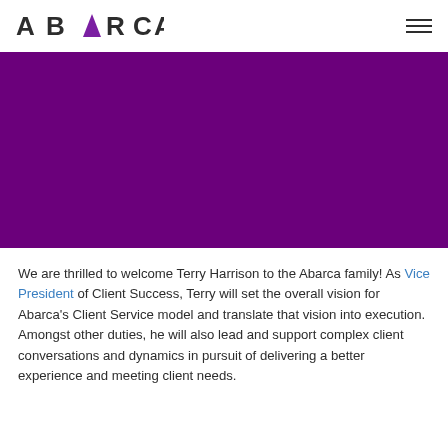ABARCA
[Figure (photo): Large purple/magenta banner image taking up approximately the middle third of the page]
We are thrilled to welcome Terry Harrison to the Abarca family! As Vice President of Client Success, Terry will set the overall vision for Abarca's Client Service model and translate that vision into execution. Amongst other duties, he will also lead and support complex client conversations and dynamics in pursuit of delivering a better experience and meeting client needs.